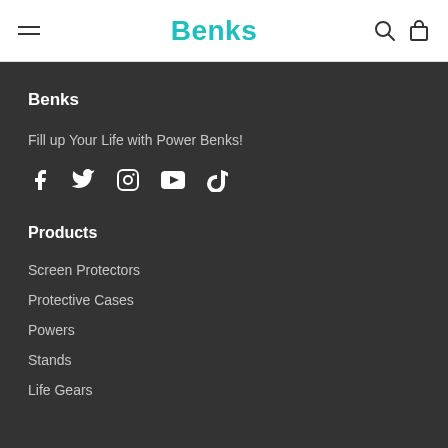Benks
Benks
Fill up Your Life with Power Benks!
[Figure (infographic): Social media icons: Facebook, Twitter, Instagram, YouTube, TikTok]
Products
Screen Protectors
Protective Cases
Powers
Stands
Life Gears